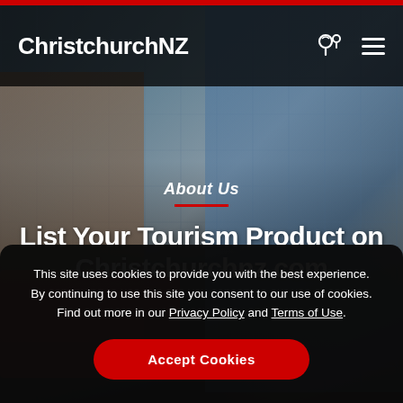ChristchurchNZ
About Us
List Your Tourism Product on Christchurchnz.com
This site uses cookies to provide you with the best experience. By continuing to use this site you consent to our use of cookies. Find out more in our Privacy Policy and Terms of Use.
Accept Cookies